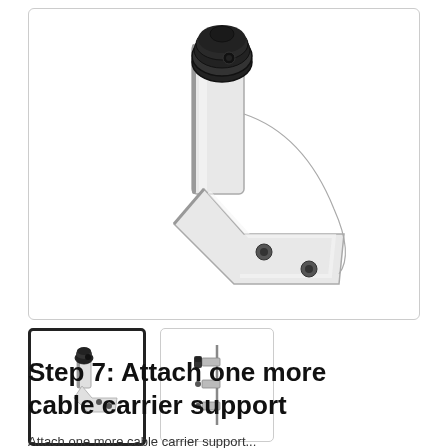[Figure (photo): Main product image showing a cable carrier support bracket assembly — a black motor/connector component attached to an L-shaped metal bracket with mounting holes, with a curved cable lead visible.]
[Figure (photo): Thumbnail 1 (active/selected): Small view of the cable carrier support bracket from a closer angle, showing black connector and metal bracket.]
[Figure (photo): Thumbnail 2: Small view of a long rail or track component with cable carrier supports attached along its length.]
Step 7: Attach one more cable carrier support
Attach one more cable carrier support...